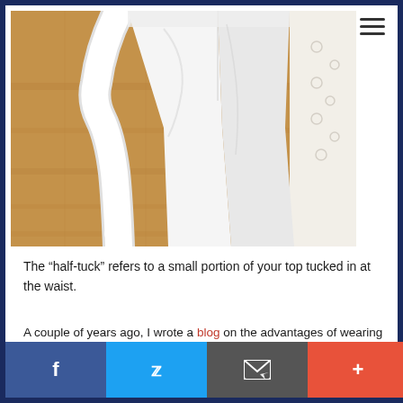[Figure (photo): A mannequin wearing white trousers with a half-tuck, standing on a wooden floor, with another light-colored garment partially visible on the right side.]
The “half-tuck” refers to a small portion of your top tucked in at the waist.
A couple of years ago, I wrote a blog on the advantages of wearing a half-tuck. This simple line and design trick gives the illusion of a